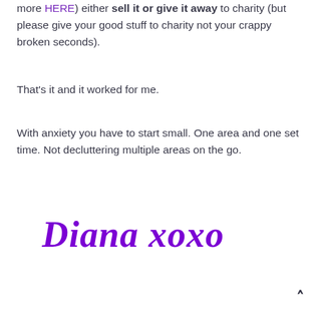more HERE) either sell it or give it away to charity (but please give your good stuff to charity not your crappy broken seconds).
That's it and it worked for me.
With anxiety you have to start small. One area and one set time. Not decluttering multiple areas on the go.
Diana xoxo